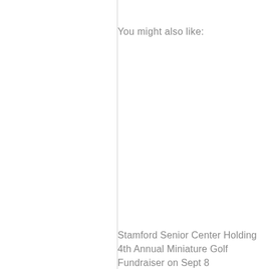You might also like:
Stamford Senior Center Holding 4th Annual Miniature Golf Fundraiser on Sept 8